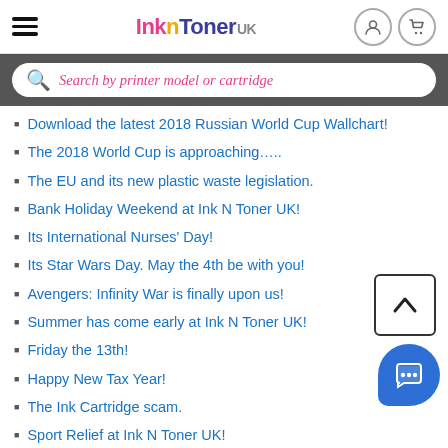InknToner UK — Navigation header with hamburger menu, logo, user icon, and cart icon
Search by printer model or cartridge
Download the latest 2018 Russian World Cup Wallchart!
The 2018 World Cup is approaching…..
The EU and its new plastic waste legislation.
Bank Holiday Weekend at Ink N Toner UK!
Its International Nurses' Day!
Its Star Wars Day. May the 4th be with you!
Avengers: Infinity War is finally upon us!
Summer has come early at Ink N Toner UK!
Friday the 13th!
Happy New Tax Year!
The Ink Cartridge scam.
Sport Relief at Ink N Toner UK!
Stephen Hawking, a brilliant cosmologist.
Mother's Day at Ink N Toner UK!
Chinese Lantern Festival, Get Creative!
Lexmark and their new universal printer driver update!
Valentine's Day at Ink N Toner UK!